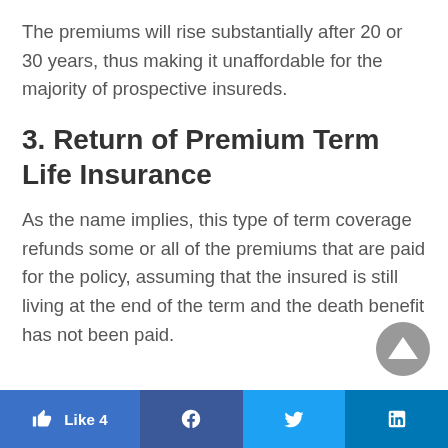The premiums will rise substantially after 20 or 30 years, thus making it unaffordable for the majority of prospective insureds.
3. Return of Premium Term Life Insurance
As the name implies, this type of term coverage refunds some or all of the premiums that are paid for the policy, assuming that the insured is still living at the end of the term and the death benefit has not been paid.
Like 4 | Facebook | Twitter | LinkedIn